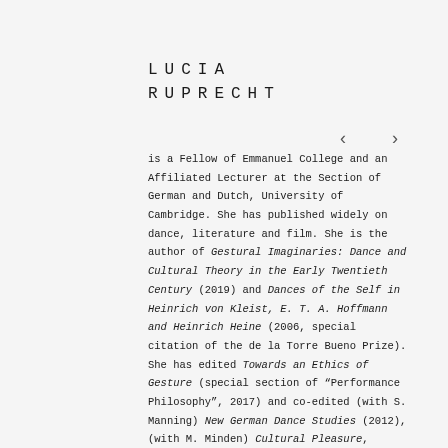LUCIA RUPRECHT
is a Fellow of Emmanuel College and an Affiliated Lecturer at the Section of German and Dutch, University of Cambridge. She has published widely on dance, literature and film. She is the author of Gestural Imaginaries: Dance and Cultural Theory in the Early Twentieth Century (2019) and Dances of the Self in Heinrich von Kleist, E. T. A. Hoffmann and Heinrich Heine (2006, special citation of the de la Torre Bueno Prize). She has edited Towards an Ethics of Gesture (special section of "Performance Philosophy", 2017) and co-edited (with S. Manning) New German Dance Studies (2012), (with M. Minden) Cultural Pleasure, special issue of "German Life & Letters" (2009) and (with A. Webber and C. Duttlinger) Performance and Performativity in German Cultural Studies (2003).